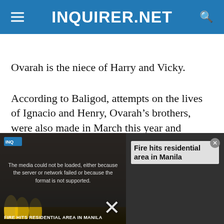INQUIRER.NET
Ovarah is the niece of Harry and Vicky.
According to Baligod, attempts on the lives of Ignacio and Henry, Ovarah’s brothers, were also made in March this year and sometime in 2020, respectively.
[Figure (screenshot): Video player overlay showing an error message 'The media could not be loaded, either because the server or network failed or because the format is not supported.' with a thumbnail of firefighters at a fire scene and title 'Fire hits residential area in Manila'. A large X close button appears at the bottom.]